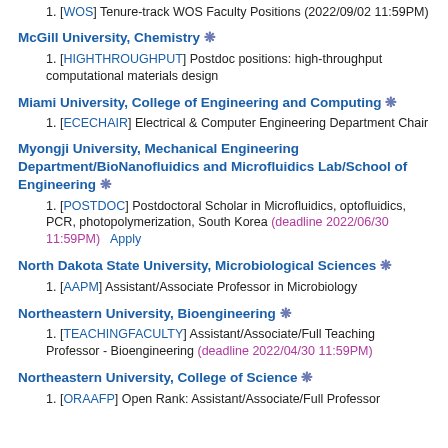1. [WOS] Tenure-track WOS Faculty Positions (2022/09/02 11:59PM)
McGill University, Chemistry ❋
1. [HIGHTHROUGHPUT] Postdoc positions: high-throughput computational materials design
Miami University, College of Engineering and Computing ❋
1. [ECECHAIR] Electrical & Computer Engineering Department Chair
Myongji University, Mechanical Engineering Department/BioNanofluidics and Microfluidics Lab/School of Engineering ❋
1. [POSTDOC] Postdoctoral Scholar in Microfluidics, optofluidics, PCR, photopolymerization, South Korea (deadline 2022/06/30 11:59PM)   Apply
North Dakota State University, Microbiological Sciences ❋
1. [AAPM] Assistant/Associate Professor in Microbiology
Northeastern University, Bioengineering ❋
1. [TEACHINGFACULTY] Assistant/Associate/Full Teaching Professor - Bioengineering (deadline 2022/04/30 11:59PM)
Northeastern University, College of Science ❋
1. [ORAAFP] Open Rank: Assistant/Associate/Full Professor